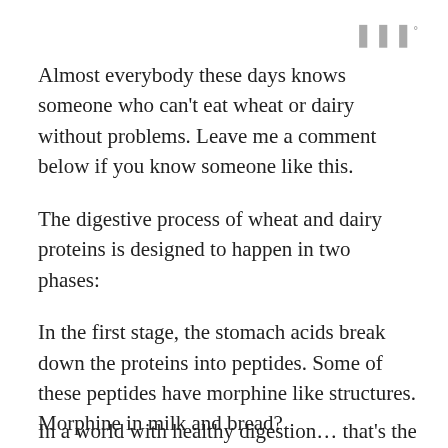[Figure (logo): Small grey logo mark with superscript degree symbol in top right corner]
Almost everybody these days knows someone who can't eat wheat or dairy without problems. Leave me a comment below if you know someone like this.
The digestive process of wheat and dairy proteins is designed to happen in two phases:
In the first stage, the stomach acids break down the proteins into peptides. Some of these peptides have morphine like structures. Morphine in milk and bread?
That’s right. It does sound a little scary.
In a world with healthy digestion… that’s the i